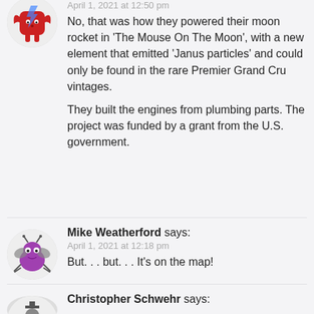April 1, 2021 at 12:50 pm
No, that was how they powered their moon rocket in 'The Mouse On The Moon', with a new element that emitted 'Janus particles' and could only be found in the rare Premier Grand Cru vintages.

They built the engines from plumbing parts. The project was funded by a grant from the U.S. government.
Mike Weatherford says:
April 1, 2021 at 12:18 pm
But. . . but. . . It's on the map!
Christopher Schwehr says: